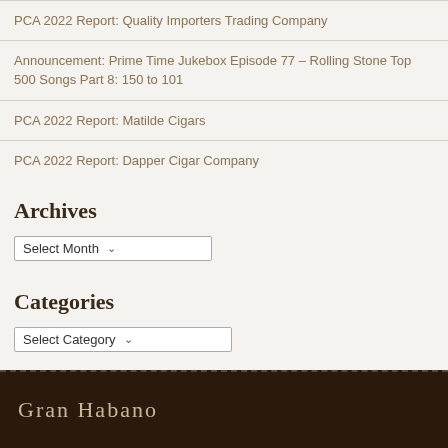PCA 2022 Report: Quality Importers Trading Company
Announcement: Prime Time Jukebox Episode 77 – Rolling Stone Top 500 Songs Part 8: 150 to 101
PCA 2022 Report: Matilde Cigars
PCA 2022 Report: Dapper Cigar Company
Archives
Select Month
Categories
Select Category
Gran Habano